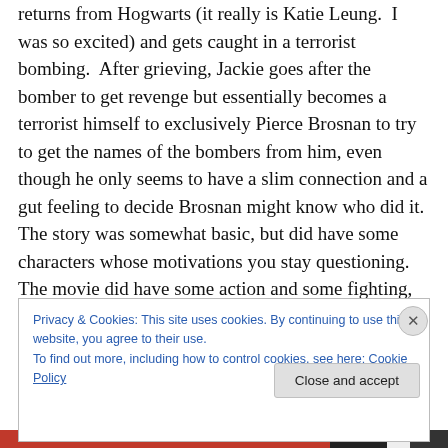returns from Hogwarts (it really is Katie Leung. I was so excited) and gets caught in a terrorist bombing. After grieving, Jackie goes after the bomber to get revenge but essentially becomes a terrorist himself to exclusively Pierce Brosnan to try to get the names of the bombers from him, even though he only seems to have a slim connection and a gut feeling to decide Brosnan might know who did it. The story was somewhat basic, but did have some characters whose motivations you stay questioning. The movie did have some action and some fighting, but nowhere near as much as Chan's movies
Privacy & Cookies: This site uses cookies. By continuing to use this website, you agree to their use.
To find out more, including how to control cookies, see here: Cookie Policy
Close and accept